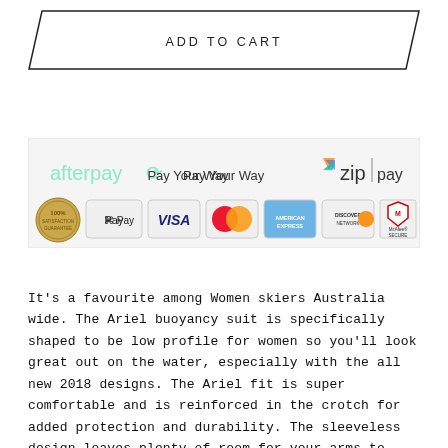ADD TO CART
[Figure (infographic): Payment options panel showing: afterpay (Pay Your Way), zip pay, plus icons for 100% satisfaction guarantee, Apple Pay, VISA, Mastercard, American Express, Discover Network, McAfee SECURE]
It's a favourite among Women skiers Australia wide. The Ariel buoyancy suit is specifically shaped to be low profile for women so you'll look great out on the water, especially with the all new 2018 designs. The Ariel fit is super comfortable and is reinforced in the crotch for added protection and durability. The sleeveless design leaves plenty of room for your arms to move so you won't feel